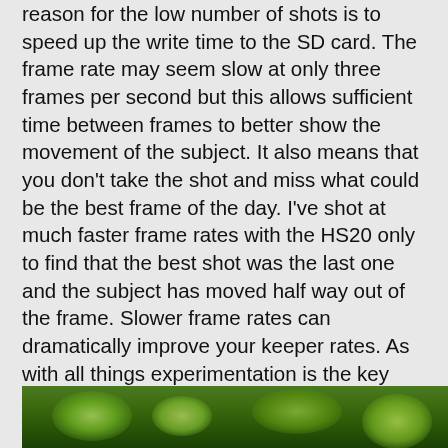reason for the low number of shots is to speed up the write time to the SD card. The frame rate may seem slow at only three frames per second but this allows sufficient time between frames to better show the movement of the subject. It also means that you don't take the shot and miss what could be the best frame of the day. I've shot at much faster frame rates with the HS20 only to find that the best shot was the last one and the subject has moved half way out of the frame. Slower frame rates can dramatically improve your keeper rates. As with all things experimentation is the key until you are happy with the results.
The image I have selected for our use here is the following image. Click on the image and select save target as... if you wish to try this exercise.
[Figure (photo): Bottom portion of a photograph showing green leaves/foliage, partially visible at the bottom of the page]